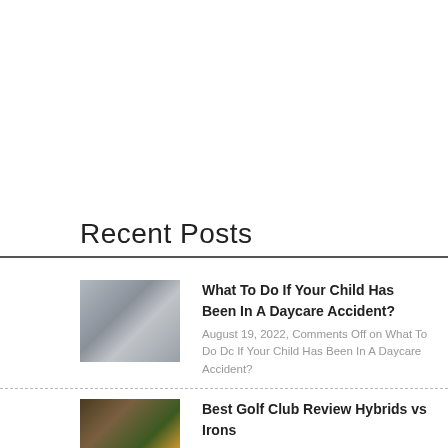Recent Posts
What To Do If Your Child Has Been In A Daycare Accident? — August 19, 2022, Comments Off on What To Do If Your Child Has Been In A Daycare Accident?
Best Golf Club Review Hybrids vs Irons — August 16, 2022, No Comments on Best Golf Club Review Hybrids vs Irons
6 Steps to Take to Prepare Your Property fo Rental